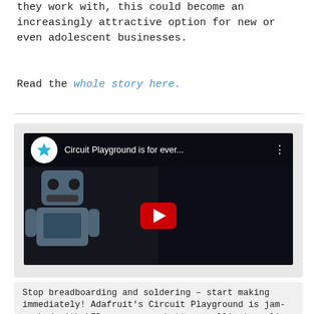they work with, this could become an increasingly attractive option for new or even adolescent businesses.
Read the whole story here.
[Figure (screenshot): YouTube video player thumbnail showing 'Circuit Playground is for ever...' with a robot mascot and a woman, red play button centered, Adafruit star logo in top-left circle.]
Stop breadboarding and soldering – start making immediately! Adafruit's Circuit Playground is jam-packed with LEDs, sensors, buttons, alligator clip pads and more. Build projects with Circuit Playground in a few minutes with the drag-and-drop